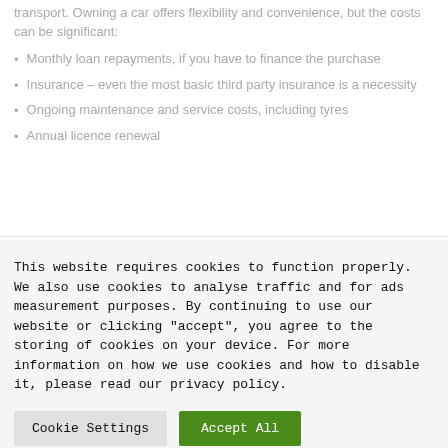transport. Owning a car offers flexibility and convenience, but the costs can be significant:
Monthly loan repayments, if you have to finance the purchase
Insurance – even the most basic third party insurance is a necessity
Ongoing maintenance and service costs, including tyres
Annual licence renewal
This website requires cookies to function properly. We also use cookies to analyse traffic and for ads measurement purposes. By continuing to use our website or clicking "accept", you agree to the storing of cookies on your device. For more information on how we use cookies and how to disable it, please read our privacy policy.
Cookie Settings | Accept All